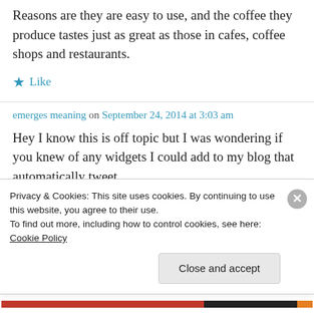Reasons are they are easy to use, and the coffee they produce tastes just as great as those in cafes, coffee shops and restaurants.
★ Like
emerges meaning on September 24, 2014 at 3:03 am
Hey I know this is off topic but I was wondering if you knew of any widgets I could add to my blog that automatically tweet
Privacy & Cookies: This site uses cookies. By continuing to use this website, you agree to their use. To find out more, including how to control cookies, see here: Cookie Policy
Close and accept